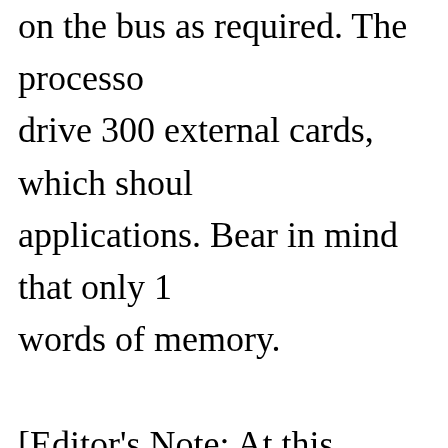on the bus as required. The processor drive 300 external cards, which should applications. Bear in mind that only 17 words of memory.
[Editor's Note: At this writing, a number peripheral devices are in various stages undergoing tests]
Assembly Details. The basic computer circuit board assemblies, each of which